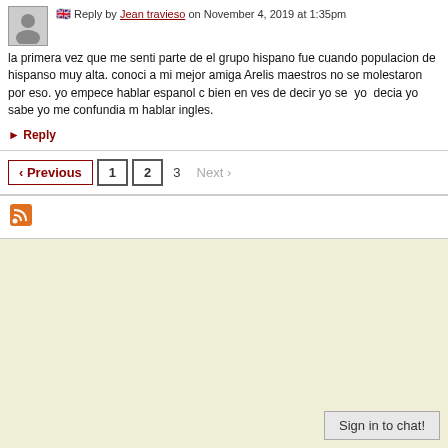Reply by Jean travieso on November 4, 2019 at 1:35pm
la primera vez que me senti parte de el grupo hispano fue cuando populacion de hispanso muy alta. conoci a mi mejor amiga Arelis maestros no se molestaron por eso. yo empece hablar espanol bien en ves de decir yo se yo decia yo sabe yo me confundia hablar ingles.
► Reply
‹ Previous 1 2 3 Next ›
[Figure (logo): RSS feed icon]
Sign in to chat!